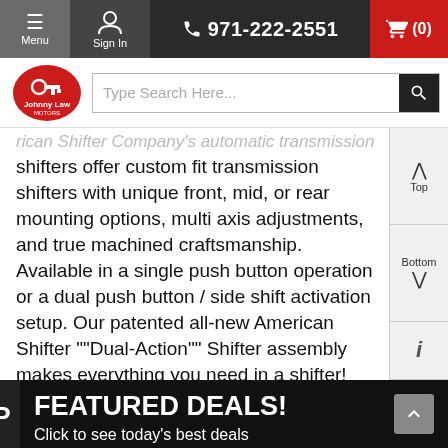≡ Menu | Sign In | ☎ 971-222-2551 | 🛒 (0)
[Figure (logo): Johnny Law Motors circular logo with key and steering wheel]
Type Search Here...
rican Shifter Company's automatic transmission shifters offer custom fit transmission shifters with unique front, mid, or rear mounting options, multi axis adjustments, and true machined craftsmanship. Available in a single push button operation or a dual push button / side shift activation setup. Our patented all-new American Shifter ""Dual-Action"" Shifter assembly makes everything you need in a shifter! Whether you like the standard Push button style or w...
Show More
FEATURED DEALS!
Click to see today's best deals